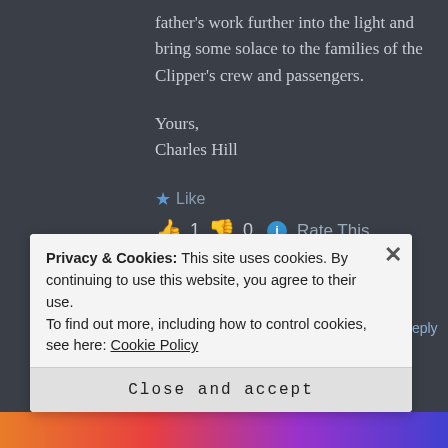father's work further into the light and bring some solace to the families of the Clipper's crew and passengers.
Yours,
Charles Hill
Like
👍 1  👎 0  ℹ Rate This
GUY NOESINGER says: ↑ Reply
Privacy & Cookies: This site uses cookies. By continuing to use this website, you agree to their use.
To find out more, including how to control cookies, see here: Cookie Policy
Close and accept